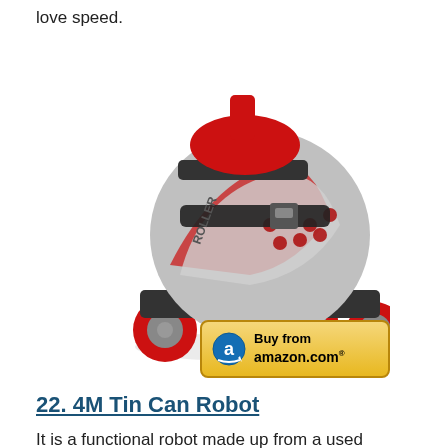love speed.
[Figure (photo): A silver and red quad roller skate with red wheels, shown at an angle against a white background.]
[Figure (other): Buy from amazon.com button with Amazon arrow logo on a gold/yellow gradient background.]
22. 4M Tin Can Robot
It is a functional robot made up from a used